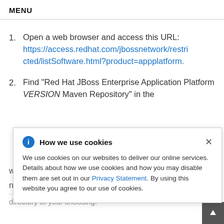MENU
1. Open a web browser and access this URL: https://access.redhat.com/jbossnetwork/restricted/listSoftware.html?product=appplatform.
2. Find "Red Hat JBoss Enterprise Application Platform VERSION Maven Repository" in the
How we use cookies
We use cookies on our websites to deliver our online services. Details about how we use cookies and how you may disable them are set out in our Privacy Statement. By using this website you agree to our use of cookies.
wnload a
n into a
directory of your choosing.